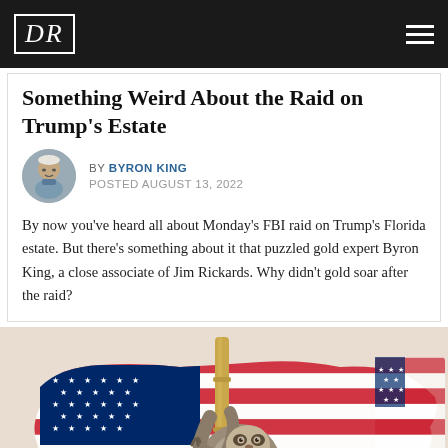DR
Something Weird About the Raid on Trump's Estate
BY BYRON KING
POSTED AUGUST 13, 2022
By now you've heard all about Monday's FBI raid on Trump's Florida estate. But there's something about it that puzzled gold expert Byron King, a close associate of Jim Rickards. Why didn't gold soar after the raid?
[Figure (illustration): A sloth clinging to a bamboo pole in front of an American flag shaped as the United States map, with red, white and blue patriotic imagery]